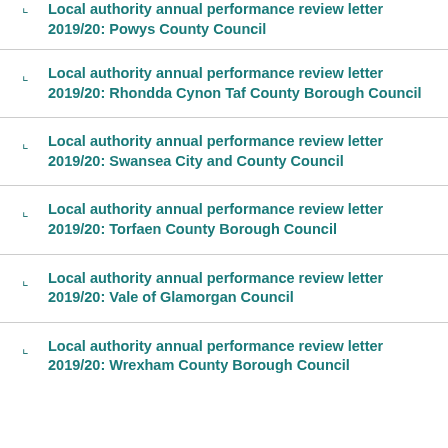Local authority annual performance review letter 2019/20: Powys County Council
Local authority annual performance review letter 2019/20: Rhondda Cynon Taf County Borough Council
Local authority annual performance review letter 2019/20: Swansea City and County Council
Local authority annual performance review letter 2019/20: Torfaen County Borough Council
Local authority annual performance review letter 2019/20: Vale of Glamorgan Council
Local authority annual performance review letter 2019/20: Wrexham County Borough Council